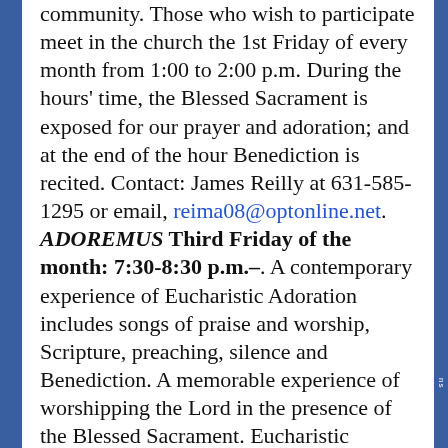community. Those who wish to participate meet in the church the 1st Friday of every month from 1:00 to 2:00 p.m. During the hours' time, the Blessed Sacrament is exposed for our prayer and adoration; and at the end of the hour Benediction is recited. Contact: James Reilly at 631-585-1295 or email, reima08@optonline.net. ADOREMUS Third Friday of the month: 7:30-8:30 p.m.–. A contemporary experience of Eucharistic Adoration includes songs of praise and worship, Scripture, preaching, silence and Benediction. A memorable experience of worshipping the Lord in the presence of the Blessed Sacrament. Eucharistic Adoration is an important part of our Catholic devotional life. Rather than limiting Eucharistic Adoration to a one-on-one experience with the Lord in his Eucharistic presence, Eucharistic